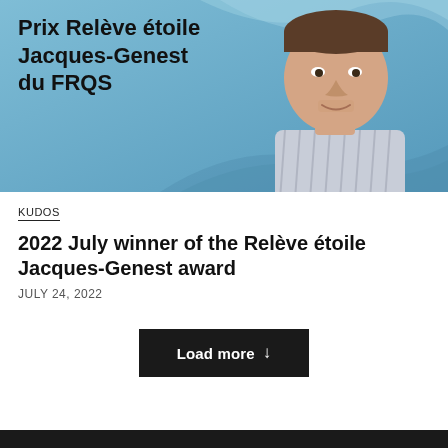[Figure (photo): Banner image showing a young man in a striped shirt smiling, against a blue background with wave design and text 'Prix Relève étoile Jacques-Genest du FRQS']
KUDOS
2022 July winner of the Relève étoile Jacques-Genest award
JULY 24, 2022
Load more